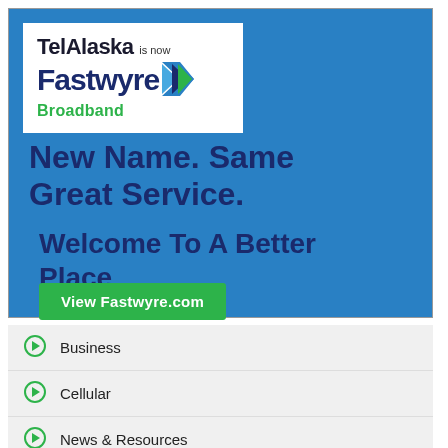[Figure (logo): TelAlaska is now Fastwyre Broadband logo on white background with blue arrow chevron]
New Name. Same Great Service.
Welcome To A Better Place
View Fastwyre.com
Business
Cellular
News & Resources
Contacts & Locations